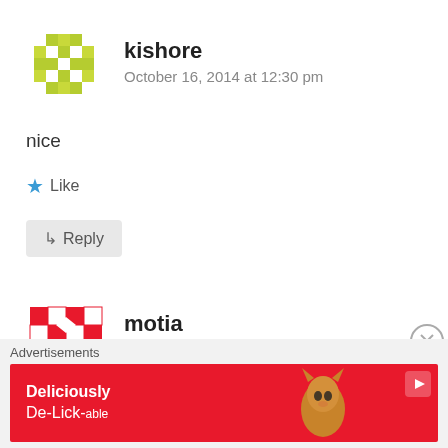[Figure (illustration): Green pixelated avatar for user kishore]
kishore
October 16, 2014 at 12:30 pm
nice
★ Like
↳ Reply
[Figure (illustration): Red and white pixelated avatar for user motia]
motia
October 17, 2014 at 11:49 am
Advertisements
[Figure (illustration): Red advertisement banner with cat image and text Deliciously De-Lick-able]